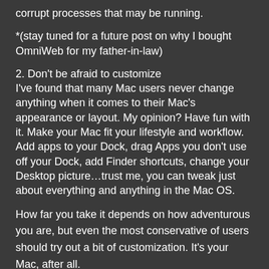corrupt processes that may be running.
*(stay tuned for a future post on why I bought OmniWeb for my father-in-law)
2. Don't be afraid to customize
I've found that many Mac users never change anything when it comes to their Mac's appearance or layout. My opinion? Have fun with it. Make your Mac fit your lifestyle and workflow. Add apps to your Dock, drag Apps you don't use off your Dock, add Finder shortcuts, change your Desktop picture…trust me, you can tweak just about everything and anything in the Mac OS.
How far you take it depends on how adventurous you are, but even the most conservative of users should try out a bit of customization. It's your Mac, after all.